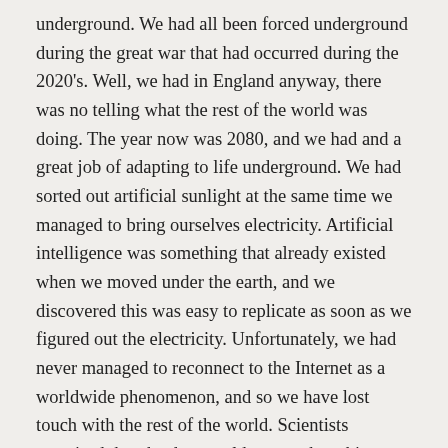underground. We had all been forced underground during the great war that had occurred during the 2020's. Well, we had in England anyway, there was no telling what the rest of the world was doing. The year now was 2080, and we had and a great job of adapting to life underground. We had sorted out artificial sunlight at the same time we managed to bring ourselves electricity. Artificial intelligence was something that already existed when we moved under the earth, and we discovered this was easy to replicate as soon as we figured out the electricity. Unfortunately, we had never managed to reconnect to the Internet as a worldwide phenomenon, and so we have lost touch with the rest of the world. Scientists promised that the day would come when this happened, but nobody cared about that anymore. It was like we had we evolved again as a species able to manage human connections and conversations.
I was part of the London group, and we had managed to